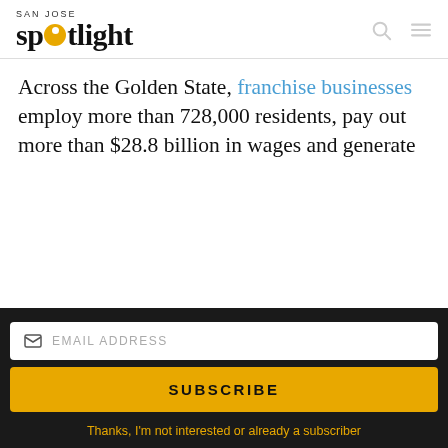SAN JOSE spotlight
Across the Golden State, franchise businesses employ more than 728,000 residents, pay out more than $28.8 billion in wages and generate
[Figure (advertisement): San Jose Spotlight advertisement with logo, tagline 'Where San Jose locals start the day.' and website sanjosespotlight.com, with tablet/device image on right side]
EMAIL ADDRESS
SUBSCRIBE
Thanks, I'm not interested or already a subscriber